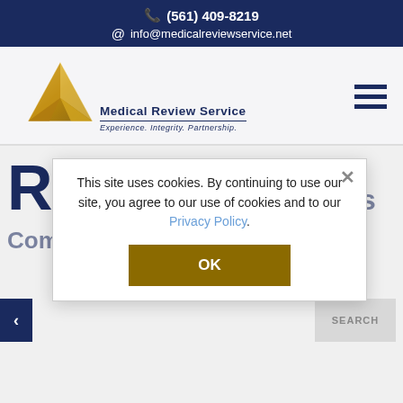☎ (561) 409-8219
@ info@medicalreviewservice.net
[Figure (logo): Medical Review Service logo with gold triangle and text 'Medical Review Service – Experience. Integrity. Partnership.']
Revenue Cycle Solutions
Comprehensive audit programs
This site uses cookies. By continuing to use our site, you agree to our use of cookies and to our Privacy Policy.
OK